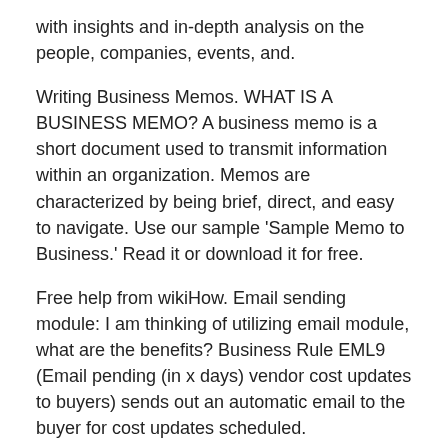with insights and in-depth analysis on the people, companies, events, and.
Writing Business Memos. WHAT IS A BUSINESS MEMO? A business memo is a short document used to transmit information within an organization. Memos are characterized by being brief, direct, and easy to navigate. Use our sample 'Sample Memo to Business.' Read it or download it for free.
Free help from wikiHow. Email sending module: I am thinking of utilizing email module, what are the benefits? Business Rule EML9 (Email pending (in x days) vendor cost updates to buyers) sends out an automatic email to the buyer for cost updates scheduled.
Busines memo 01
Rated 4/5 based on 44 review